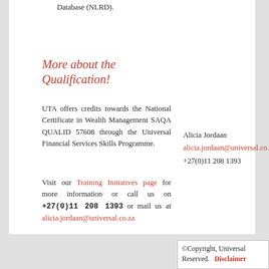Database (NLRD).
More about the Qualification!
UTA offers credits towards the National Certificate in Wealth Management SAQA QUALID 57608 through the Universal Financial Services Skills Programme.
Visit our Training Initiatives page for more information or call us on +27(0)11 208 1393 or mail us at alicia.jordaan@universal.co.za
Alicia Jordaan
alicia.jordaan@universal.co.za
+27(0)11 208 1393
©Copyright, Universal Reserved. Disclaimer